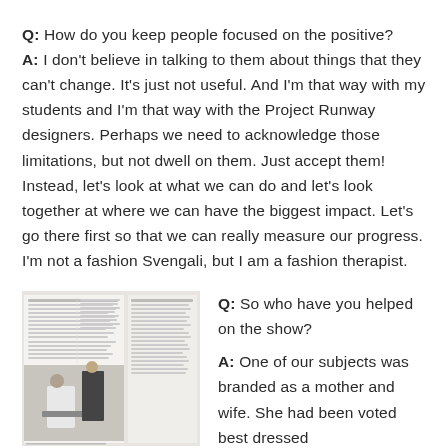Q: How do you keep people focused on the positive? A: I don't believe in talking to them about things that they can't change. It's just not useful. And I'm that way with my students and I'm that way with the Project Runway designers. Perhaps we need to acknowledge those limitations, but not dwell on them. Just accept them! Instead, let's look at what we can do and let's look together at where we can have the biggest impact. Let's go there first so that we can really measure our progress. I'm not a fashion Svengali, but I am a fashion therapist.
[Figure (photo): Magazine spread showing article pages with a photo of two people, one seated wearing a white shirt and one standing in a dark suit]
Q: So who have you helped on the show? A: One of our subjects was branded as a mother and wife. She had been voted best dressed